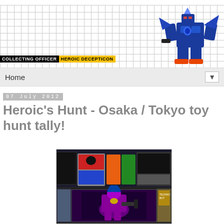[Figure (illustration): Blue robot/transformer figure (Heroic Decepticon) on grid background header]
COLLECTING OFFICER HEROIC DECEPTICON
Home ▼
07 July 2012
Heroic's Hunt - Osaka / Tokyo toy hunt tally!
[Figure (photo): Photo of toy/action figure store display showing various boxed Transformers toys and figures]